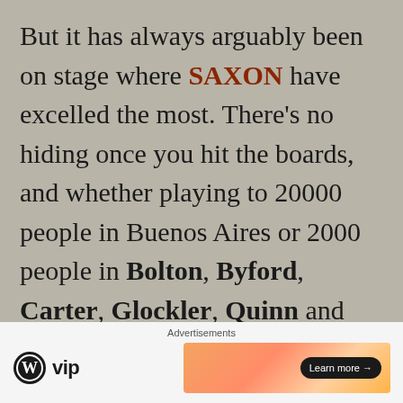But it has always arguably been on stage where SAXON have excelled the most. There's no hiding once you hit the boards, and whether playing to 20000 people in Buenos Aires or 2000 people in Bolton, Byford, Carter, Glockler, Quinn and Scarratt source the same high-voltage energy reserves and deliver the same high-octane
Advertisements
[Figure (other): WordPress VIP logo and an advertisement banner with gradient background and Learn more button]